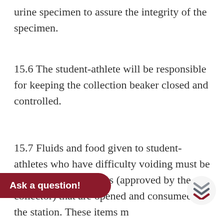urine specimen to assure the integrity of the specimen.
15.6 The student-athlete will be responsible for keeping the collection beaker closed and controlled.
15.7 Fluids and food given to student-athletes who have difficulty voiding must be from sealed containers (approved by the collector) that are opened and consumed in the station. These items m... other banned substances.